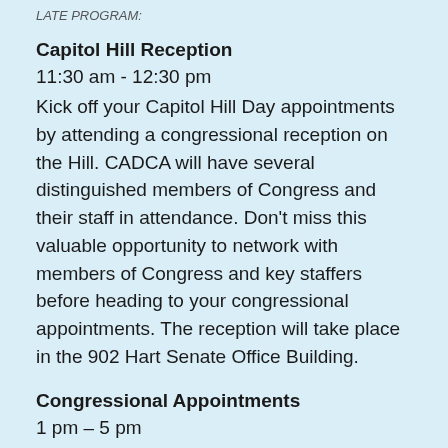LATE PROGRAM:
Capitol Hill Reception
11:30 am - 12:30 pm
Kick off your Capitol Hill Day appointments by attending a congressional reception on the Hill. CADCA will have several distinguished members of Congress and their staff in attendance. Don't miss this valuable opportunity to network with members of Congress and key staffers before heading to your congressional appointments. The reception will take place in the 902 Hart Senate Office Building.
Congressional Appointments
1 pm – 5 pm
Go to Capitol Hill to educate your legislators about the effectiveness of